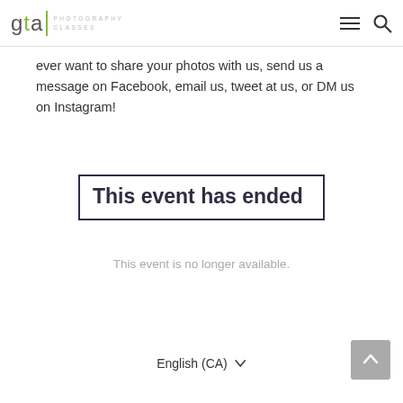gta PHOTOGRAPHY CLASSES
ever want to share your photos with us, send us a message on Facebook, email us, tweet at us, or DM us on Instagram!
This event has ended
This event is no longer available.
English (CA)